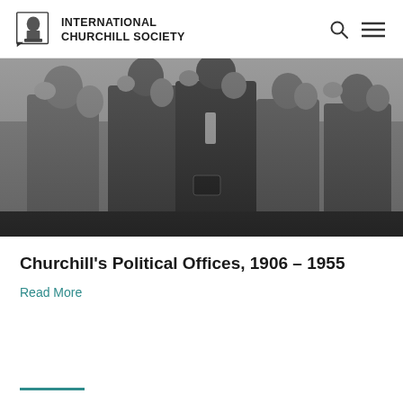INTERNATIONAL CHURCHILL SOCIETY
[Figure (photo): Black and white photograph of a crowd of people walking, wearing early 20th century formal attire including overcoats and hats.]
Churchill's Political Offices, 1906 – 1955
Read More